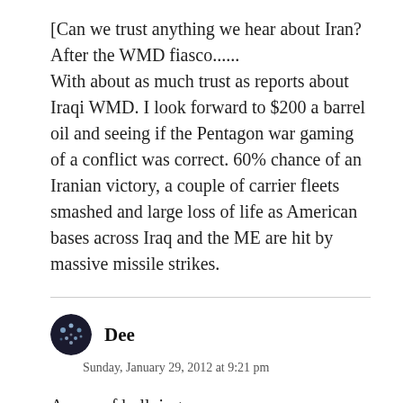[Can we trust anything we hear about Iran? After the WMD fiasco...... With about as much trust as reports about Iraqi WMD. I look forward to $200 a barrel oil and seeing if the Pentagon war gaming of a conflict was correct. 60% chance of an Iranian victory, a couple of carrier fleets smashed and large loss of life as American bases across Iraq and the ME are hit by massive missile strikes.
Dee
Sunday, January 29, 2012 at 9:21 pm
A case of bullying.
I may not like some of their traditions/parts of